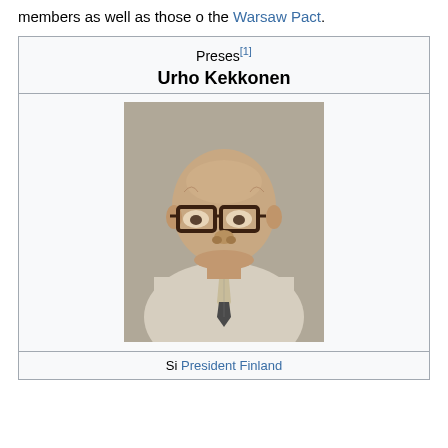members as well as those o the Warsaw Pact.
| Preses[1] | Urho Kekkonen |
| --- | --- |
[Figure (photo): Portrait photo of Urho Kekkonen, an elderly bald man wearing large dark-framed glasses and a light-colored suit with a tie.]
Si President Finland